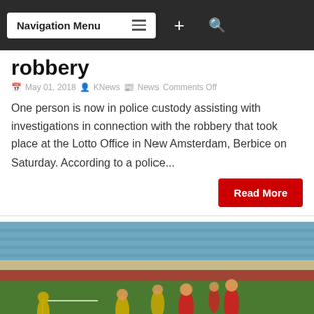Navigation Menu
robbery
May 01, 2018  KNews  News Comments Off
One person is now in police custody assisting with investigations in connection with the robbery that took place at the Lotto Office in New Amsterdam, Berbice on Saturday. According to a police...
Read More
[Figure (photo): Soccer match photo showing players in yellow and red uniforms on a green field with blue stadium seats in the background. Silhouettes of spectators visible in the foreground.]